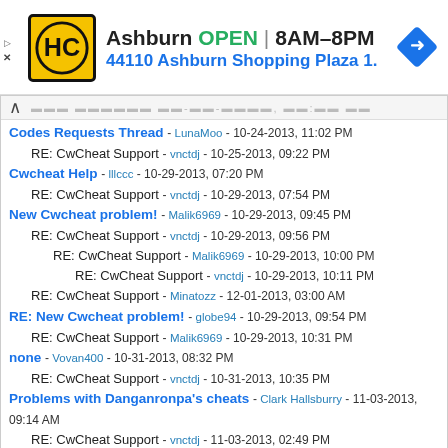[Figure (infographic): Advertisement banner for Hardee's/HC store in Ashburn. Shows logo, OPEN status, hours 8AM-8PM, address 44110 Ashburn Shopping Plaza 1., and a navigation arrow icon.]
Codes Requests Thread - LunaMoo - 10-24-2013, 11:02 PM
RE: CwCheat Support - vnctdj - 10-25-2013, 09:22 PM
Cwcheat Help - lllccc - 10-29-2013, 07:20 PM
RE: CwCheat Support - vnctdj - 10-29-2013, 07:54 PM
New Cwcheat problem! - Malik6969 - 10-29-2013, 09:45 PM
RE: CwCheat Support - vnctdj - 10-29-2013, 09:56 PM
RE: CwCheat Support - Malik6969 - 10-29-2013, 10:00 PM
RE: CwCheat Support - vnctdj - 10-29-2013, 10:11 PM
RE: CwCheat Support - Minatozz - 12-01-2013, 03:00 AM
RE: New Cwcheat problem! - globe94 - 10-29-2013, 09:54 PM
RE: CwCheat Support - Malik6969 - 10-29-2013, 10:31 PM
none - Vovan400 - 10-31-2013, 08:32 PM
RE: CwCheat Support - vnctdj - 10-31-2013, 10:35 PM
Problems with Danganronpa's cheats - Clark Hallsburry - 11-03-2013, 09:14 AM
RE: CwCheat Support - vnctdj - 11-03-2013, 02:49 PM
cheats arent working help - kaitlin4599 - 11-24-2013, 02:17 AM
RE: CwCheat Support - vnctdj - 11-24-2013, 10:54 AM
RE: CwCheat Support - the end - 11-25-2013, 08:12 AM